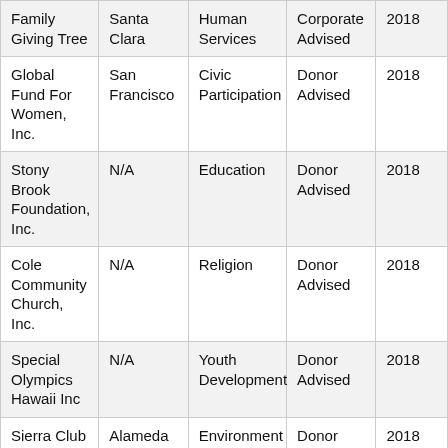| Organization | County | Category | Fund Type | Year |
| --- | --- | --- | --- | --- |
| Family Giving Tree | Santa Clara | Human Services | Corporate Advised | 2018 |
| Global Fund For Women, Inc. | San Francisco | Civic Participation | Donor Advised | 2018 |
| Stony Brook Foundation, Inc. | N/A | Education | Donor Advised | 2018 |
| Cole Community Church, Inc. | N/A | Religion | Donor Advised | 2018 |
| Special Olympics Hawaii Inc | N/A | Youth Development | Donor Advised | 2018 |
| Sierra Club Foundation | Alameda | Environment | Donor Advised | 2018 |
| Carlton Home and School Club | Santa Clara | Education | Corporate Advised | 2018 |
| Doctors Without | N/A | Public Safety | Donor Advised | 2018 |